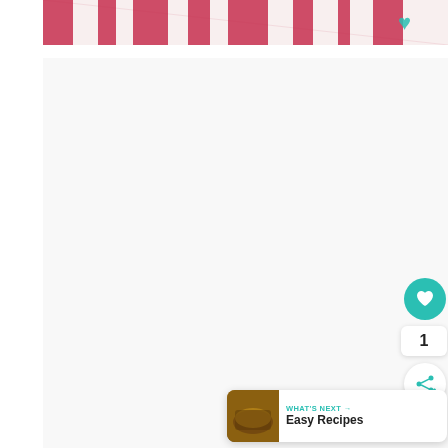[Figure (photo): Close-up photo of red and white striped fabric/textile with a decorative heart motif in teal/green, partially cropped at top of page]
[Figure (illustration): White blank content area below the photo, representing a webpage screenshot with UI elements: a teal heart/like button, a count of 1, a share button, and a 'What's Next - Easy Recipes' navigation bar at the bottom right]